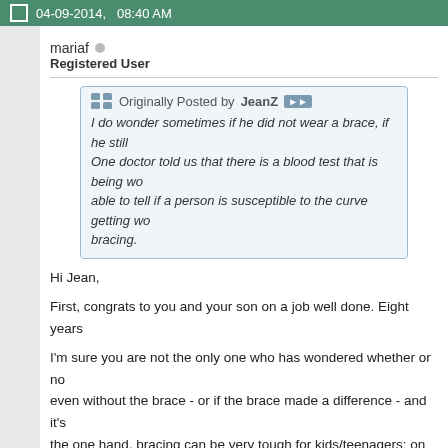04-09-2014, 08:40 AM
mariaf
Registered User
Originally Posted by JeanZ
I do wonder sometimes if he did not wear a brace, if he still One doctor told us that there is a blood test that is being wo able to tell if a person is susceptible to the curve getting wo bracing.
Hi Jean,
First, congrats to you and your son on a job well done. Eight years
I'm sure you are not the only one who has wondered whether or no even without the brace - or if the brace made a difference - and it's the one hand, bracing can be very tough for kids/teenagers; on the to roll the dice and take that chance and forego bracing.
Again, congrats on a job well done.
mariaf305@yahoo.com
Mom to David, age 17, braced June 2000 to March 2004
Vertebral Body Stapling 3/10/04 for 40 degree curve (currently mid